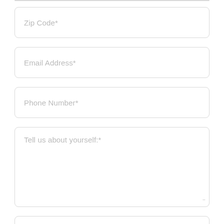Zip Code*
Email Address*
Phone Number*
Tell us about yourself:*
What are your hobbies and interests:*